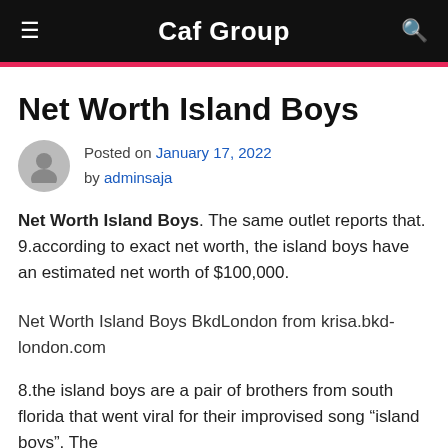Caf Group
Net Worth Island Boys
Posted on January 17, 2022 by adminsaja
Net Worth Island Boys. The same outlet reports that. 9.according to exact net worth, the island boys have an estimated net worth of $100,000.
Net Worth Island Boys BkdLondon from krisa.bkd-london.com
8.the island boys are a pair of brothers from south florida that went viral for their improvised song “island boys”. The